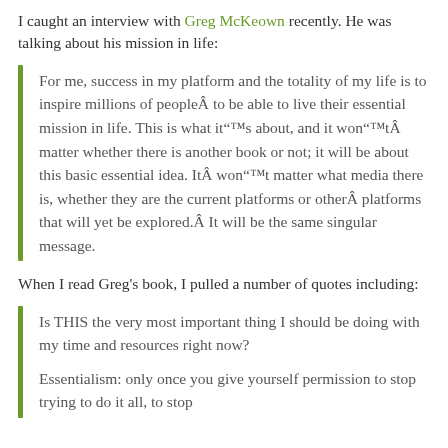I caught an interview with Greg McKeown recently. He was talking about his mission in life:
For me, success in my platform and the totality of my life is to inspire millions of peopleÂ to be able to live their essential mission in life. This is what it“™s about, and it won“™tÂ matter whether there is another book or not; it will be about this basic essential idea. ItÂ won“™t matter what media there is, whether they are the current platforms or otherÂ platforms that will yet be explored.Â It will be the same singular message.
When I read Greg's book, I pulled a number of quotes including:
Is THIS the very most important thing I should be doing with my time and resources right now?
Essentialism: only once you give yourself permission to stop trying to do it all, to stop...